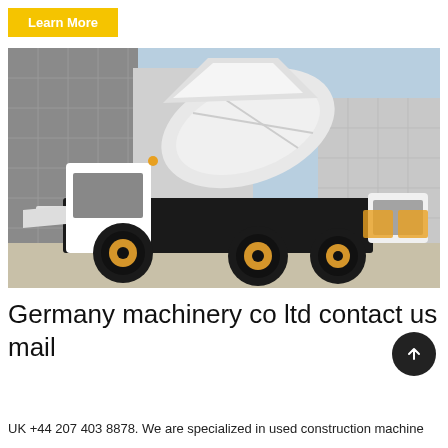Learn More
[Figure (photo): A white self-loading concrete mixer truck with yellow wheels parked in front of an industrial building. The large rotating drum is tilted upward. The truck has a cab on the left side and appears to be a compact self-propelled model.]
Germany machinery co ltd contact us mail
UK +44 207 403 8878. We are specialized in used construction machine